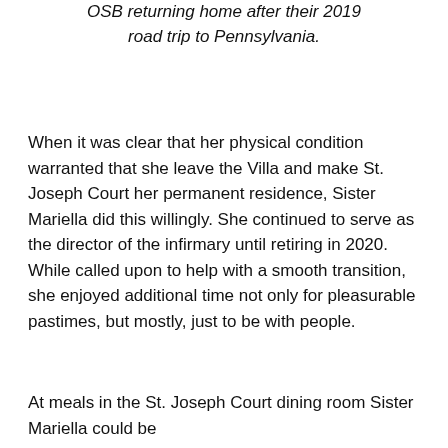OSB returning home after their 2019 road trip to Pennsylvania.
When it was clear that her physical condition warranted that she leave the Villa and make St. Joseph Court her permanent residence, Sister Mariella did this willingly. She continued to serve as the director of the infirmary until retiring in 2020. While called upon to help with a smooth transition, she enjoyed additional time not only for pleasurable pastimes, but mostly, just to be with people.
At meals in the St. Joseph Court dining room Sister Mariella could be